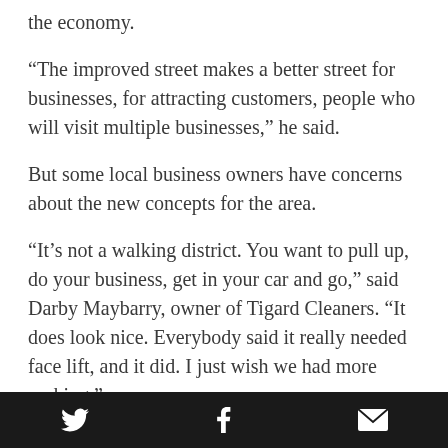the economy.
“The improved street makes a better street for businesses, for attracting customers, people who will visit multiple businesses,” he said.
But some local business owners have concerns about the new concepts for the area.
“It’s not a walking district. You want to pull up, do your business, get in your car and go,” said Darby Maybarry, owner of Tigard Cleaners. “It does look nice. Everybody said it really needed face lift, and it did. I just wish we had more parking.”
Curbside parking was reduced when sidewalks were widened and bioswales and containment areas went in. Even though the city built a separate public lot, the area lost a net of about 10 spaces, Cook said.
Twitter | Facebook | Email